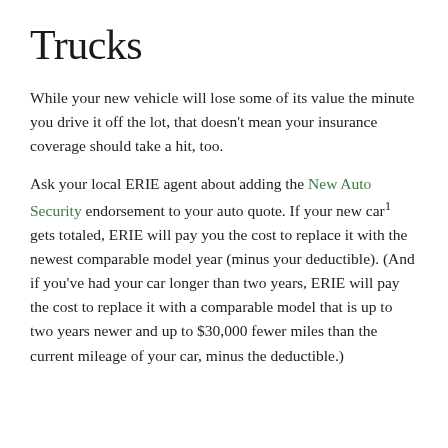Trucks
While your new vehicle will lose some of its value the minute you drive it off the lot, that doesn't mean your insurance coverage should take a hit, too.
Ask your local ERIE agent about adding the New Auto Security endorsement to your auto quote. If your new car¹ gets totaled, ERIE will pay you the cost to replace it with the newest comparable model year (minus your deductible). (And if you've had your car longer than two years, ERIE will pay the cost to replace it with a comparable model that is up to two years newer and up to $30,000 fewer miles than the current mileage of your car, minus the deductible.)